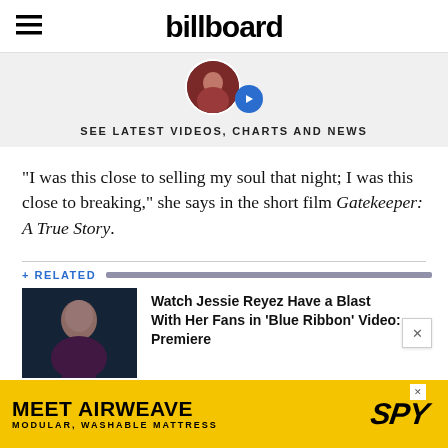billboard
[Figure (screenshot): Billboard website banner showing circular avatar thumbnail with a blue arrow button and gray background bar with text 'SEE LATEST VIDEOS, CHARTS AND NEWS']
“I was this close to selling my soul that night; I was this close to breaking,” she says in the short film Gatekeeper: A True Story.
+ RELATED
[Figure (photo): Photo of Jessie Reyez, a young woman with long dark hair wearing a purple top, on dark blue background]
Watch Jessie Reyez Have a Blast With Her Fans in ‘Blue Ribbon’ Video: Premiere
[Figure (screenshot): Advertisement banner: MEET AIRWEAVE MODULAR, WASHABLE MATTRESS with SPY logo on yellow background]